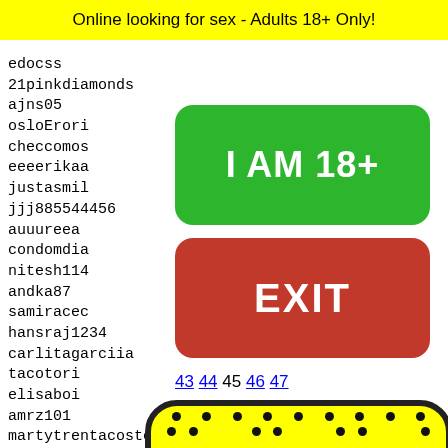Online looking for sex - Adults 18+ Only!
edocss
21pinkdiamonds
ajns05
osloErori
checcomos
eeeerikaа
justasmil
jjj885544456
auuureea
condomdia
nitesh114
andka87
samiraced
hansraj1234
carlitagarciia
tacotori
elisaboi
amrz101
martytrentacoste235
dessii~
waseem
javijd
giogri
Pretty
gioans
[Figure (infographic): Green button with white text 'I AM 18+' and red button with white text 'EXIT', age verification overlay buttons]
43 44 45 46 47
[Figure (illustration): Yellow rounded rectangle with black border and dot pattern, showing a Snapchat ghost emoji face at the bottom]